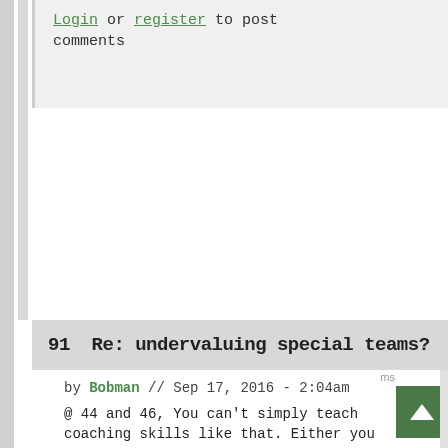Login or register to post comments
91  Re: undervaluing special teams?
by Bobman // Sep 17, 2016 - 2:04am
@ 44 and 46, You can't simply teach coaching skills like that. Either you got 'em or you... uh, hmmm, what was I saying again?
Oh yeah: Colts Mantra since Grigson and Pagano arrived: Run the Ball. Stop the run. Neither of which they do